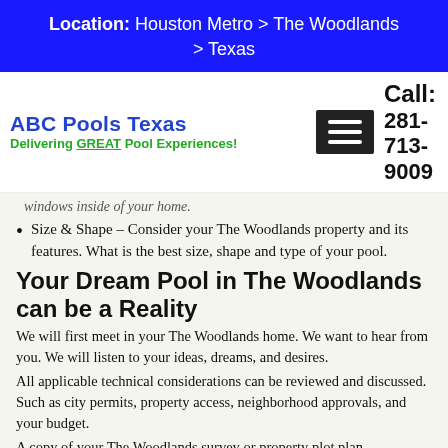Location: Houston Metro > The Woodlands > Texas
[Figure (logo): ABC Pools Texas logo with tagline 'Delivering GREAT Pool Experiences!' and hamburger menu icon, plus phone number Call: 281-713-9009]
windows inside of your home.
Size & Shape – Consider your The Woodlands property and its features. What is the best size, shape and type of your pool.
Your Dream Pool in The Woodlands can be a Reality
We will first meet in your The Woodlands home. We want to hear from you. We will listen to your ideas, dreams, and desires.
All applicable technical considerations can be reviewed and discussed. Such as city permits, property access, neighborhood approvals, and your budget.
A copy of your The Woodlands survey or property plot plan